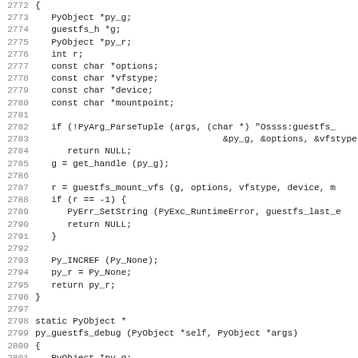Source code listing lines 2772-2803, C function implementations for py_guestfs_mount_vfs and py_guestfs_debug